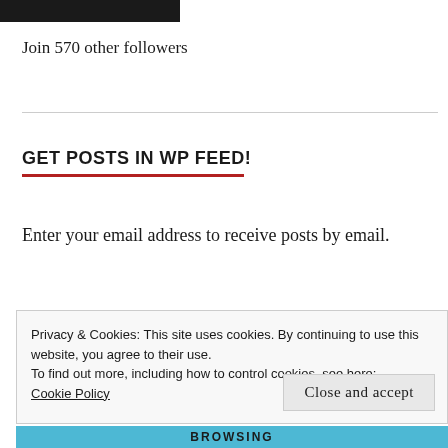[Figure (other): Dark black/charcoal rectangular button or image at the top left]
Join 570 other followers
GET POSTS IN WP FEED!
Enter your email address to receive posts by email.
Privacy & Cookies: This site uses cookies. By continuing to use this website, you agree to their use.
To find out more, including how to control cookies, see here:
Cookie Policy
Close and accept